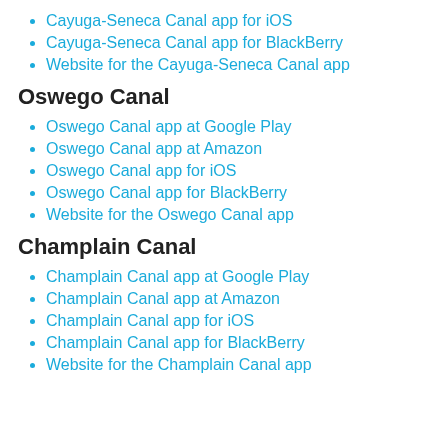Cayuga-Seneca Canal app for iOS
Cayuga-Seneca Canal app for BlackBerry
Website for the Cayuga-Seneca Canal app
Oswego Canal
Oswego Canal app at Google Play
Oswego Canal app at Amazon
Oswego Canal app for iOS
Oswego Canal app for BlackBerry
Website for the Oswego Canal app
Champlain Canal
Champlain Canal app at Google Play
Champlain Canal app at Amazon
Champlain Canal app for iOS
Champlain Canal app for BlackBerry
Website for the Champlain Canal app